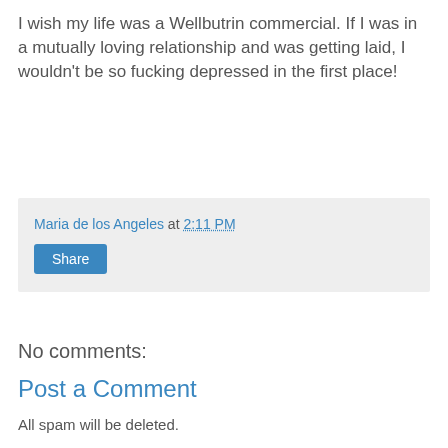I wish my life was a Wellbutrin commercial. If I was in a mutually loving relationship and was getting laid, I wouldn't be so fucking depressed in the first place!
Maria de los Angeles at 2:11 PM
Share
No comments:
Post a Comment
All spam will be deleted.